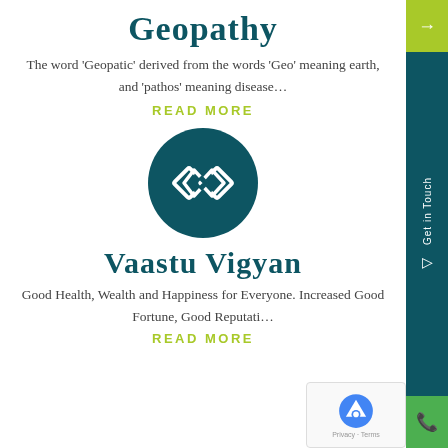Geopathy
The word ‘Geopatic’ derived from the words ‘Geo’ meaning earth, and ‘pathos’ meaning disease...
READ MORE
[Figure (logo): Dark teal circle with white diamond/chain link geometric logo icon]
Vaastu Vigyan
Good Health, Wealth and Happiness for Everyone. Increased Good Fortune, Good Reputati...
READ MORE